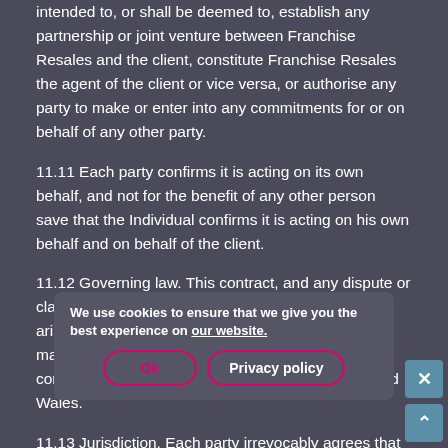intended to, or shall be deemed to, establish any partnership or joint venture between Franchise Resales and the client, constitute Franchise Resales the agent of the client or vice versa, or authorise any party to make or enter into any commitments for or on behalf of any other party.
11.11 Each party confirms it is acting on its own behalf, and not for the benefit of any other person save that the Individual confirms it is acting on his own behalf and on behalf of the client.
11.12 Governing law. This contract, and any dispute or claim (including non-contractual disputes or claims) arising out of, or in connection with it or its subject matter or formation, shall be governed by, and construed in accordance with the law of England and Wales.
11.13 Jurisdiction. Each party irrevocably agrees that the courts of England and Wales shall have exclusive jurisdiction to settle any dispute or claim (including non-contractual disputes or claims) arising out of, or in connection with this contract or its
We use cookies to ensure that we give you the best experience on our website.